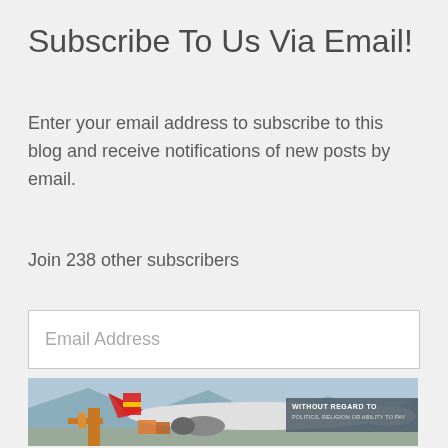Subscribe To Us Via Email!
Enter your email address to subscribe to this blog and receive notifications of new posts by email.
Join 238 other subscribers
Email Address
[Figure (photo): Advertisement banner showing a cargo airplane being loaded, with overlay text reading 'WITHOUT REGARD TO POLITICS, RELIGION OR ABILITY TO PAY']